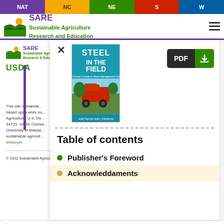NAT | NC | NE | S | W
[Figure (logo): SARE Sustainable Agriculture Research and Education logo with hamburger menu icon]
[Figure (screenshot): Website screenshot showing SARE/USDA header with overlay modal containing Steel in the Field book cover and PDF download button]
Table of contents
Publisher's Foreword
Acknowleddaments
© 2022 Sustainable Agriculture Research & Education